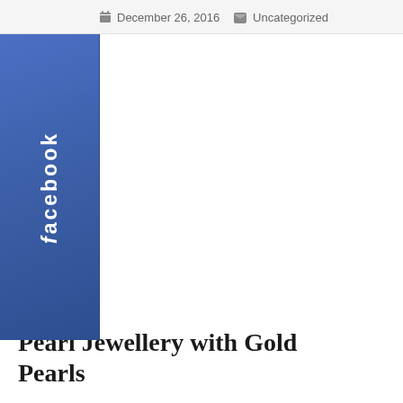December 26, 2016  Uncategorized
[Figure (logo): Facebook logo widget — blue rectangle with white 'facebook' text written vertically]
Pearl Jewellery with Gold Pearls